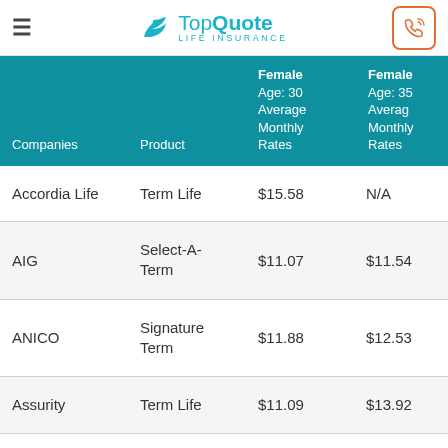TopQuote Life Insurance
| Companies | Product | Female Age: 30 Average Monthly Rates | Female Age: 35 Average Monthly Rates |
| --- | --- | --- | --- |
| Accordia Life | Term Life | $15.58 | N/A |
| AIG | Select-A-Term | $11.07 | $11.54 |
| ANICO | Signature Term | $11.88 | $12.53 |
| Assurity | Term Life | $11.09 | $13.92 |
| … | … | … | … |